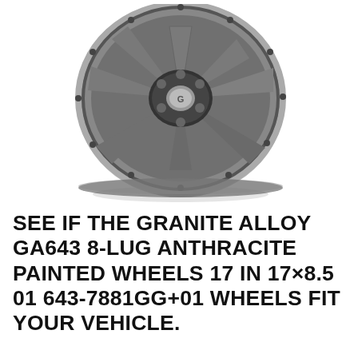[Figure (photo): A Granite Alloy GA643 8-lug anthracite painted alloy wheel, shown in 3/4 perspective view against a white background. The wheel has 8 spokes with a dark gunmetal/anthracite finish and a bolted outer lip ring.]
SEE IF THE GRANITE ALLOY GA643 8-LUG ANTHRACITE PAINTED WHEELS 17 IN 17×8.5 01 643-7881GG+01 WHEELS FIT YOUR VEHICLE.